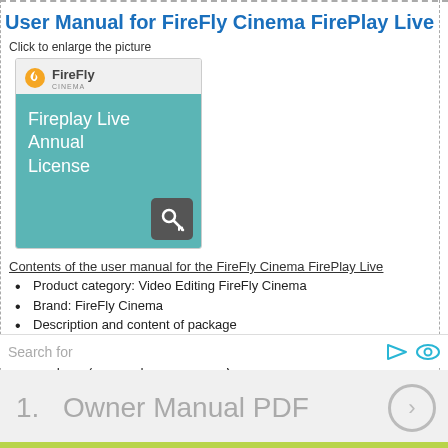User Manual for FireFly Cinema FirePlay Live
Click to enlarge the picture
[Figure (illustration): FireFly Cinema Fireplay Live Annual License product box with teal body, FireFly logo header, and key icon badge]
Contents of the user manual for the FireFly Cinema FirePlay Live
Product category: Video Editing FireFly Cinema
Brand: FireFly Cinema
Description and content of package
Technical information and basic settings
Frequently asked questions – FAQ
Troubleshooting (does not switch on, does not respond, error message, what do I do if…)
Search for
1.  Owner Manual PDF